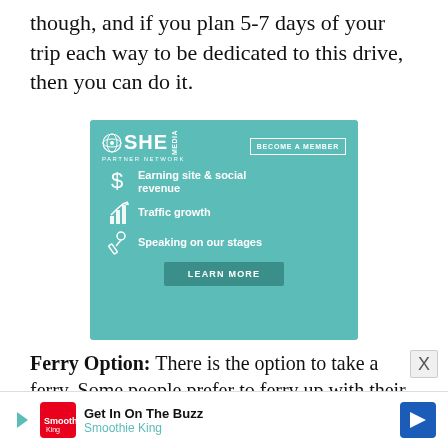though, and if you plan 5-7 days of your trip each way to be dedicated to this drive, then you can do it.
[Figure (infographic): SHE Media Partner Network advertisement featuring teal background with benefits: Earning site & social revenue, Traffic growth, Speaking on our stages. Includes BECOME A MEMBER button and LEARN MORE button.]
Ferry Option: There is the option to take a ferry. Some people prefer to ferry up with their car or RV
[Figure (infographic): Bottom banner advertisement for Smoothie King with Get In On The Buzz tagline and navigation arrow icon.]